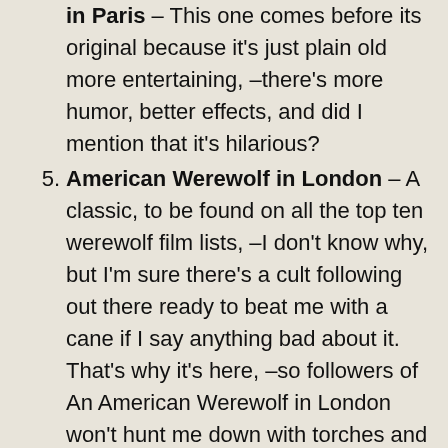in Paris – This one comes before its original because it's just plain old more entertaining, –there's more humor, better effects, and did I mention that it's hilarious?
5. American Werewolf in London – A classic, to be found on all the top ten werewolf film lists, –I don't know why, but I'm sure there's a cult following out there ready to beat me with a cane if I say anything bad about it. That's why it's here, –so followers of An American Werewolf in London won't hunt me down with torches and pitchforks.
6. The Wolf Man – Lon Chaney Jr. is the